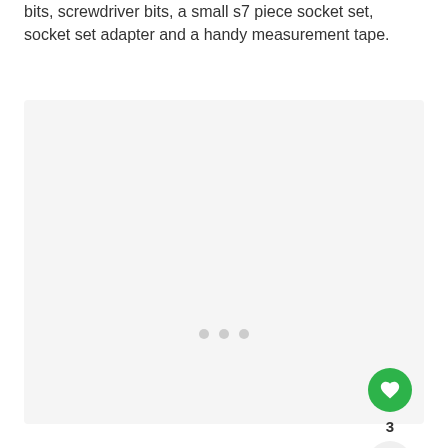bits, screwdriver bits, a small s7 piece socket set, socket set adapter and a handy measurement tape.
[Figure (photo): Light gray image placeholder area with three small dots at the bottom center indicating a carousel/slideshow. A green heart (like) button and share button with count '3' are overlaid on the right side.]